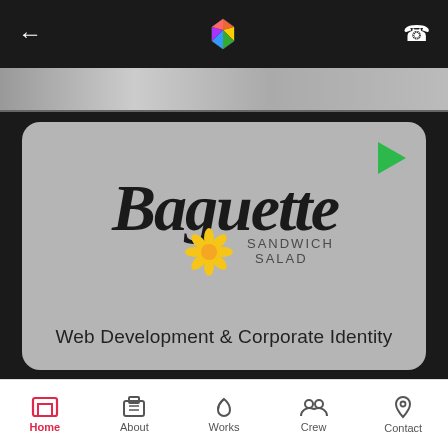← [colorful logo] ↗
[Figure (screenshot): Partial image strip showing a scrolled view of portfolio images]
[Figure (logo): Baguette Sandwich Salad card with grey background, cursive Baguette logo with yellow flower, play button top right]
Web Development & Corporate Identity
[Figure (logo): Ozcinar Marble card with beige/marble background showing circular green leaf logo, play button top right]
Home | About | Works | Crew | Contact